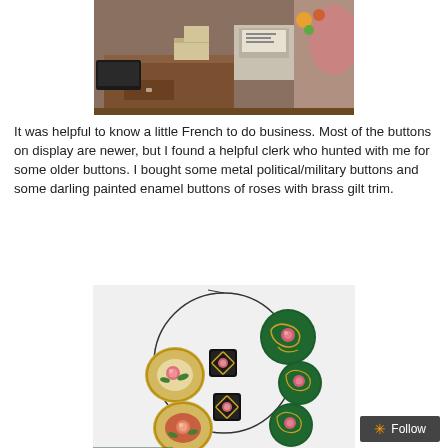[Figure (photo): Interior of a shop or antique store showing a wooden dresser/counter with boxes and items on top, a cash register in the background, and colorful decorations including what appears to be a lampshade on the right.]
It was helpful to know a little French to do business.  Most of the buttons on display are newer, but I found a helpful clerk who hunted with me for some older buttons.  I bought some metal political/military buttons and some darling painted enamel buttons of roses with brass gilt trim.
[Figure (photo): Several decorative buttons laid out on a white surface arranged in a circular pattern. The buttons include painted enamel buttons with roses and brass gilt trim, and dark green cloisonné-style round buttons with floral designs.]